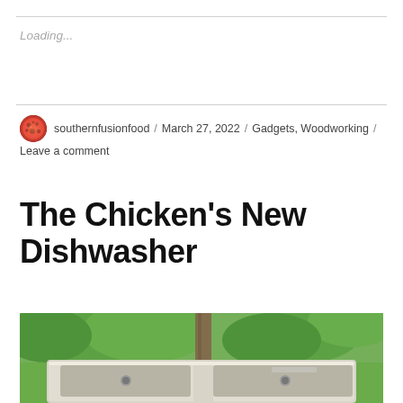Loading...
southernfusionfood / March 27, 2022 / Gadgets, Woodworking / Leave a comment
The Chicken’s New Dishwasher
[Figure (photo): An outdoor double kitchen sink placed in a garden setting, surrounded by green leafy plants and a wooden post, with chain-link fencing visible in the background.]